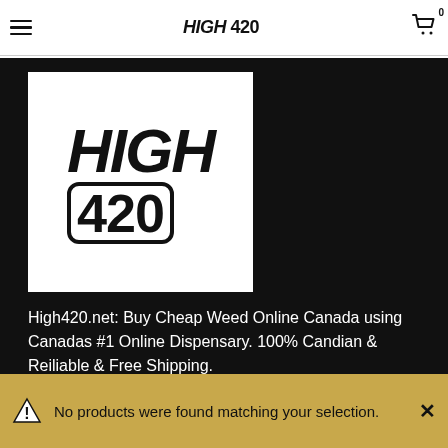HIGH 420 — navigation header with hamburger menu and cart icon
[Figure (logo): HIGH 420 logo — bold italic HIGH text with 420 in outlined rounded rectangle, black on white background]
High420.net: Buy Cheap Weed Online Canada using Canadas #1 Online Dispensary. 100% Candian & Reiliable & Free Shipping.
BROWSE OUR SITE
No products were found matching your selection.